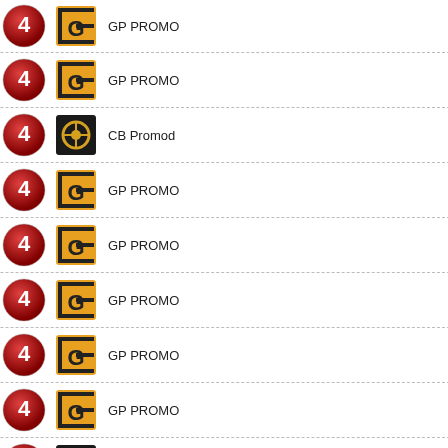29.10.2009 20:00 | Channel 4 | GP PROMO
27.10.2009 20:00 | Channel 4 | GP PROMO
25.10.2009 21:00 | Channel 4 | CB Promod
25.10.2009 20:00 | Channel 4 | GP PROMO
21.10.2009 20:00 | Channel 4 | GP PROMO
19.10.2009 20:00 | Channel 4 | GP PROMO
15.10.2009 20:30 | Channel 4 | GP PROMO
15.10.2009 20:00 | Channel 4 | GP PROMO
15.10.2009 19:00 | Channel 4 | CB Promod
17.6.2009 20:30 | Channel 4 | GP CoD:Wa